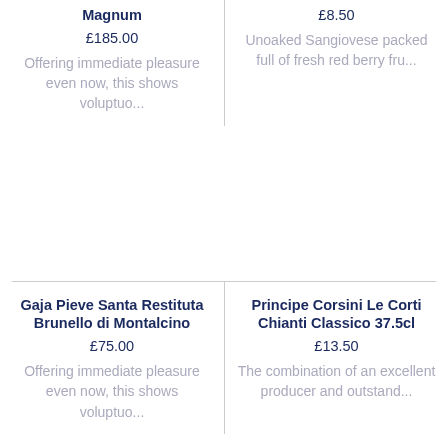Magnum
£185.00
Offering immediate pleasure even now, this shows voluptuo...
£8.50
Unoaked Sangiovese packed full of fresh red berry fru...
Gaja Pieve Santa Restituta Brunello di Montalcino
£75.00
Offering immediate pleasure even now, this shows voluptuo...
Principe Corsini Le Corti Chianti Classico 37.5cl
£13.50
The combination of an excellent producer and outstand...